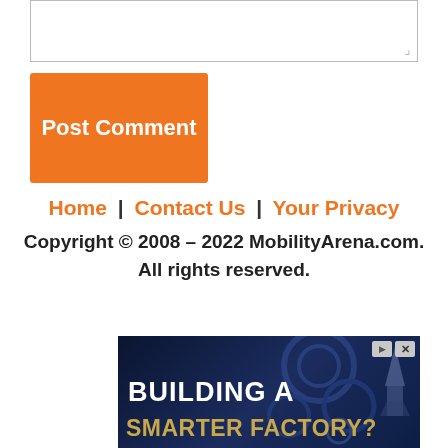[Figure (screenshot): Text area input box for comment, partially visible at top]
Post Comment
Home | Contact Us | Your Privacy
Copyright © 2008 – 2022 MobilityArena.com.
All rights reserved.
[Figure (photo): Advertisement banner with dark blue industrial/factory background. Text reads: BUILDING A (white) SMARTER FACTORY? (gold/yellow). Has ad close button top right.]